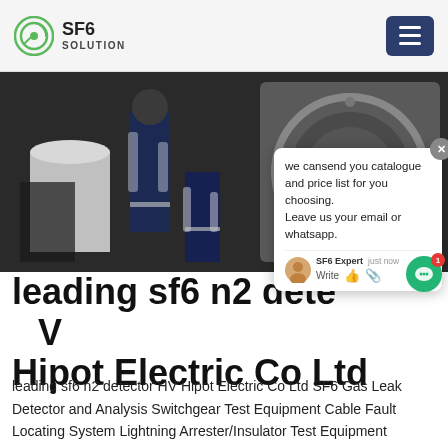SF6 SOLUTION
[Figure (photo): Industrial workers in reflective gear near large electrical/gas equipment, cylindrical tanks and machinery in an industrial facility]
we cansend you catalogue and price list for you choosing. Leave us your email or whatsapp.
leading sf6 n2 detector HV Hipot Electric Co Ltd
leading sf6 n2 detector HV Hipot Electric Co Ltd SF6 Gas Leak Detector and Analysis Switchgear Test Equipment Cable Fault Locating System Lightning Arrester/Insulator Test Equipment